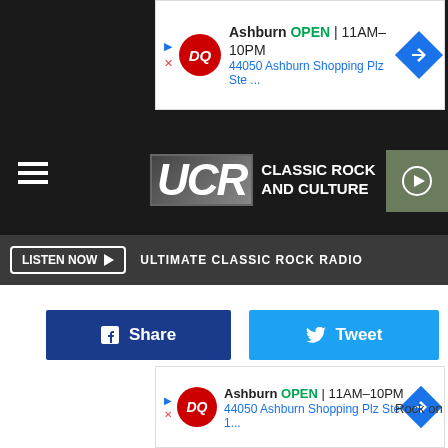[Figure (screenshot): Dairy Queen ad banner: Ashburn OPEN 11AM-10PM, 44050 Ashburn Shopping Plz Ste ...]
[Figure (logo): UCR Classic Rock and Culture logo with play button]
LISTEN NOW ▶  ULTIMATE CLASSIC ROCK RADIO
[Figure (screenshot): Facebook Share button and Twitter Tweet button]
[Figure (screenshot): Dairy Queen ad banner bottom: Ashburn OPEN 11AM-10PM, 44050 Ashburn Shopping Plz Ste 1...]
Rock on